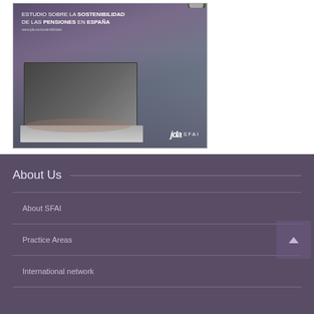[Figure (photo): Cover image of a study document titled 'ESTUDIO SOBRE LA SOSTENIBILIDAD DE LAS PENSIONES EN ESPAÑA' with a person typing on a laptop keyboard, featuring the jda SFAI logo in the bottom right corner]
About Us
About SFAI
Practice Areas
International network